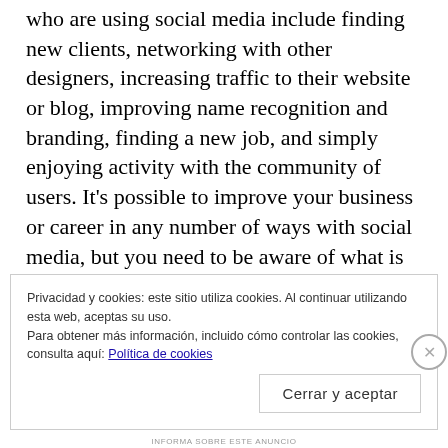who are using social media include finding new clients, networking with other designers, increasing traffic to their website or blog, improving name recognition and branding, finding a new job, and simply enjoying activity with the community of users. It's possible to improve your business or career in any number of ways with social media, but you need to be aware of what is important to you because it should shape the way in which you use social media.
Privacidad y cookies: este sitio utiliza cookies. Al continuar utilizando esta web, aceptas su uso.
Para obtener más información, incluido cómo controlar las cookies, consulta aquí: Política de cookies
Cerrar y aceptar
INFORMA SOBRE ESTE ANUNCIO